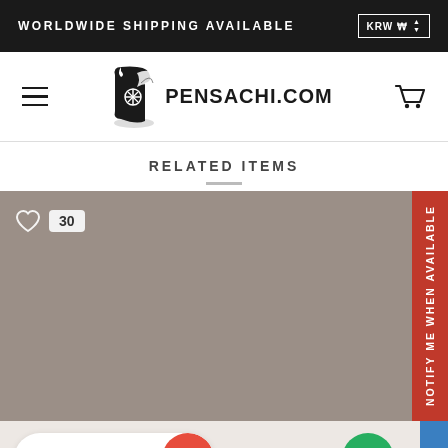WORLDWIDE SHIPPING AVAILABLE  KRW ₩
[Figure (logo): Pensachi.com logo with scroll/pen icon and text PENSACHI.COM, hamburger menu and shopping cart icons]
RELATED ITEMS
[Figure (photo): Product image placeholder in taupe/brown-gray color with heart icon, count badge showing 30, and NOTIFY ME WHEN AVAILABLE red side tab]
REWARD
[Figure (other): Green chat bubble icon at bottom right]